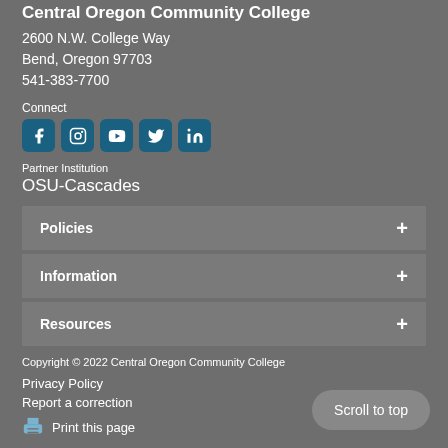Central Oregon Community College
2600 N.W. College Way
Bend, Oregon 97703
541-383-7700
Connect
[Figure (other): Social media icons: Facebook, Instagram, YouTube, Twitter, LinkedIn]
Partner Institution
OSU-Cascades
Policies
Information
Resources
Copyright © 2022 Central Oregon Community College
Privacy Policy
Report a correction
Print this page
Scroll to top